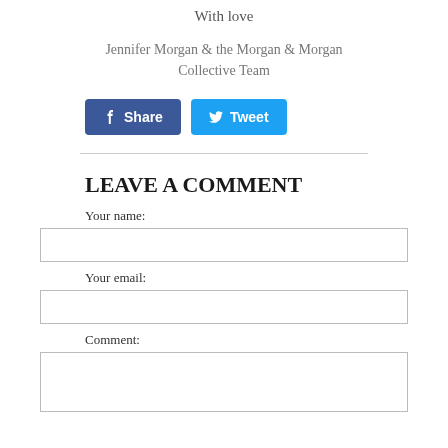With love
Jennifer Morgan & the Morgan & Morgan Collective Team
[Figure (other): Facebook Share button and Twitter Tweet button]
LEAVE A COMMENT
Your name:
Your email:
Comment: